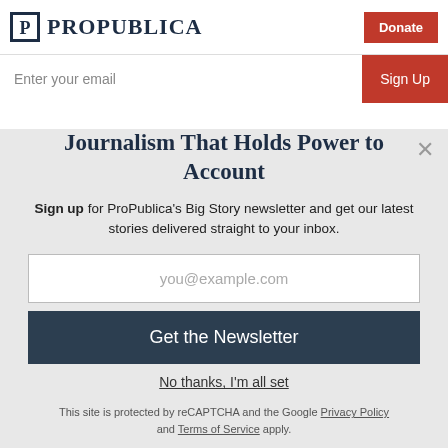ProPublica | Donate
Enter your email | Sign Up
Journalism That Holds Power to Account
Sign up for ProPublica's Big Story newsletter and get our latest stories delivered straight to your inbox.
you@example.com
Get the Newsletter
No thanks, I'm all set
This site is protected by reCAPTCHA and the Google Privacy Policy and Terms of Service apply.